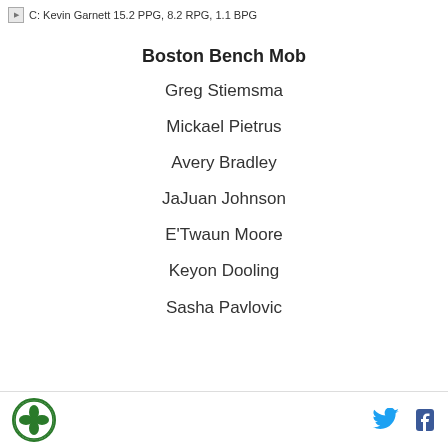C: Kevin Garnett 15.2 PPG, 8.2 RPG, 1.1 BPG
Boston Bench Mob
Greg Stiemsma
Mickael Pietrus
Avery Bradley
JaJuan Johnson
E'Twaun Moore
Keyon Dooling
Sasha Pavlovic